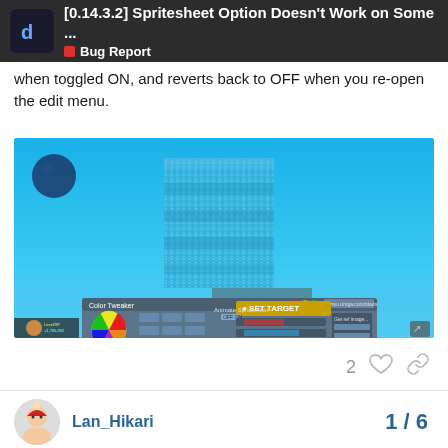[0.14.3.2] Spritesheet Option Doesn't Work on Some ... | Bug Report
when toggled ON, and reverts back to OFF when you re-open the edit menu.
[Figure (screenshot): Game engine screenshot showing a blue environment with a water/glitch texture rectangle in the center, and a Color Tweaker dialog box open at the bottom with SET TARGET highlighted in yellow, showing various color controls and sliders.]
2
Lan_Hikari
1 / 6